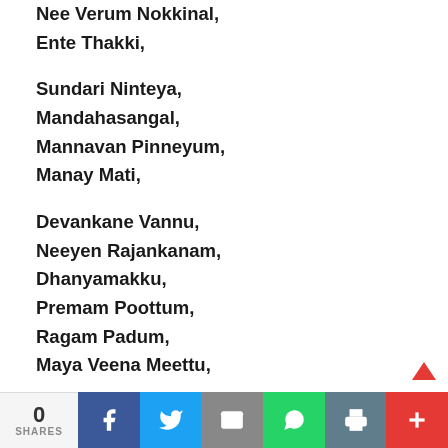Nee Verum Nokkinal,
Ente Thakki,
Sundari Ninteya,
Mandahasangal,
Mannavan Pinneyum,
Manay Mati,
Devankane Vannu,
Neeyen Rajankanam,
Dhanyamakku,
Premam Poottum,
Ragam Padum,
Maya Veena Meettu,
Parvanenthu Theerthu,
Thanna Charu,
Chelu Chartham,
0 SHARES | Facebook | Twitter | Email | WhatsApp | Print | Plus